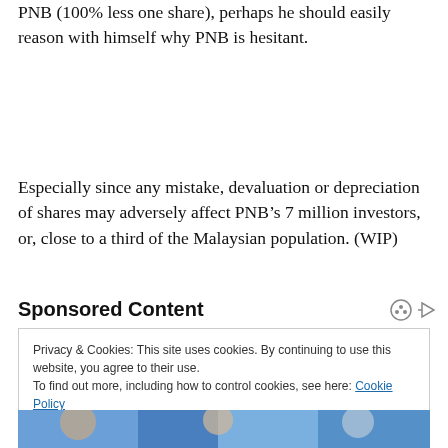PNB (100% less one share), perhaps he should easily reason with himself why PNB is hesitant.
Especially since any mistake, devaluation or depreciation of shares may adversely affect PNB’s 7 million investors, or, close to a third of the Malaysian population. (WIP)
Sponsored Content
Privacy & Cookies: This site uses cookies. By continuing to use this website, you agree to their use.
To find out more, including how to control cookies, see here: Cookie Policy
[Figure (photo): Photo strip at bottom of page showing people]